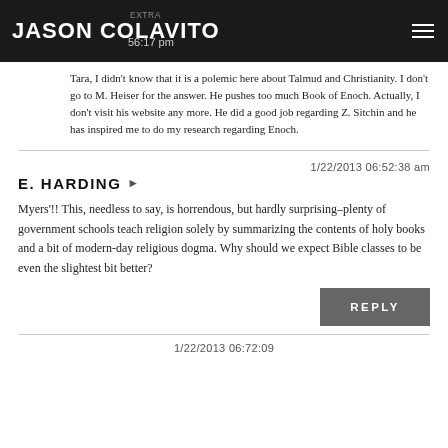Jason Colavito | 1/22/2013 06:56:17 pm
Tara, I didn't know that it is a polemic here about Talmud and Christianity. I don't go to M. Heiser for the answer. He pushes too much Book of Enoch. Actually, I don't visit his website any more. He did a good job regarding Z. Sitchin and he has inspired me to do my research regarding Enoch.
E. HARDING
1/22/2013 06:52:38 am
Myers'!! This, needless to say, is horrendous, but hardly surprising–plenty of government schools teach religion solely by summarizing the contents of holy books and a bit of modern-day religious dogma. Why should we expect Bible classes to be even the slightest bit better?
REPLY
1/22/2013 06:72:09